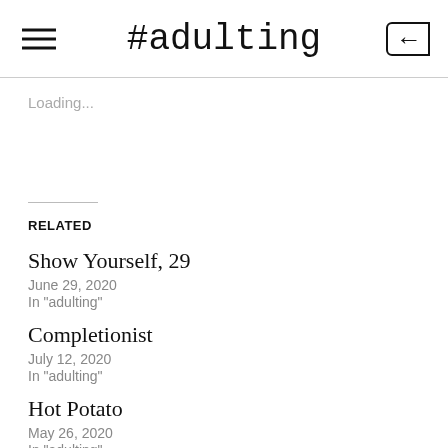#adulting
Loading...
RELATED
Show Yourself, 29
June 29, 2020
In "adulting"
Completionist
July 12, 2020
In "adulting"
Hot Potato
May 26, 2020
In "adulting"